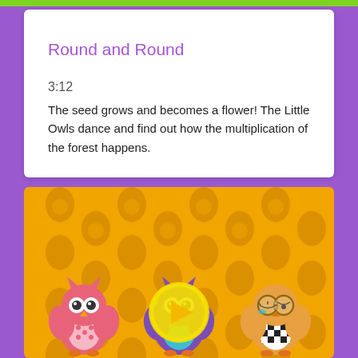Round and Round
3:12
The seed grows and becomes a flower! The Little Owls dance and find out how the multiplication of the forest happens.
[Figure (screenshot): Video thumbnail with yellow/orange background featuring owl pattern spots. Three cartoon owls are shown: a pink owl on the left, a purple-and-teal owl in the center with a yellow play button circle overlay, and an orange owl with large glasses and checkered body on the right.]